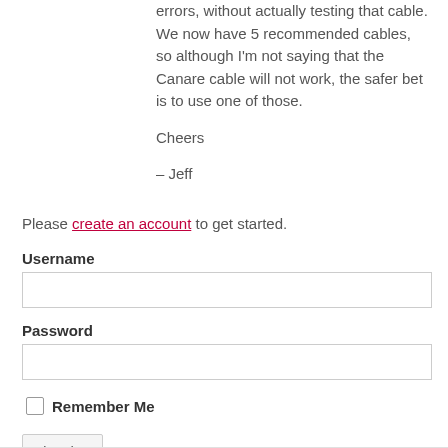errors, without actually testing that cable. We now have 5 recommended cables, so although I'm not saying that the Canare cable will not work, the safer bet is to use one of those.
Cheers
– Jeff
Please create an account to get started.
Username
Password
Remember Me
Log In